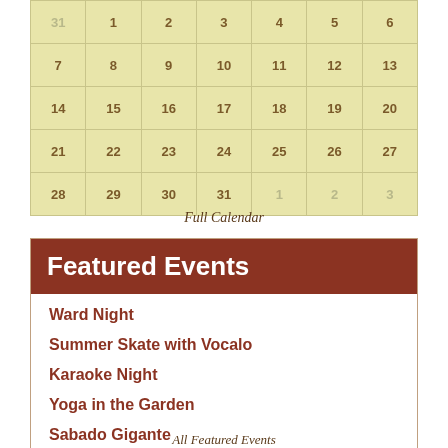| 31 | 1 | 2 | 3 | 4 | 5 | 6 |
| 7 | 8 | 9 | 10 | 11 | 12 | 13 |
| 14 | 15 | 16 | 17 | 18 | 19 | 20 |
| 21 | 22 | 23 | 24 | 25 | 26 | 27 |
| 28 | 29 | 30 | 31 | 1 | 2 | 3 |
Full Calendar
Featured Events
Ward Night
Summer Skate with Vocalo
Karaoke Night
Yoga in the Garden
Sabado Gigante
Ward Night
Karaoke Night
All Featured Events